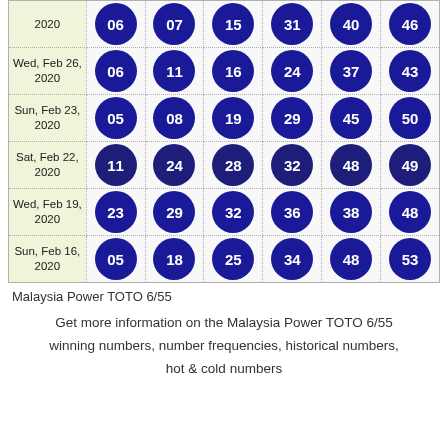| Date | Ball1 | Ball2 | Ball3 | Ball4 | Ball5 | Ball6 |
| --- | --- | --- | --- | --- | --- | --- |
| 2020 | 06 | 07 | 15 | 31 | 40 | 46 |
| Wed, Feb 26, 2020 | 06 | 11 | 16 | 24 | 37 | 43 |
| Sun, Feb 23, 2020 | 05 | 08 | 19 | 29 | 45 | 50 |
| Sat, Feb 22, 2020 | 11 | 24 | 28 | 32 | 48 | 49 |
| Wed, Feb 19, 2020 | 23 | 29 | 32 | 36 | 38 | 48 |
| Sun, Feb 16, 2020 | 05 | 18 | 25 | 34 | 48 | 53 |
Malaysia Power TOTO 6/55
Get more information on the Malaysia Power TOTO 6/55 winning numbers, number frequencies, historical numbers, hot & cold numbers